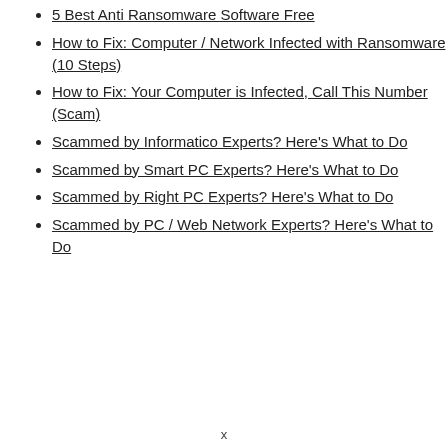5 Best Anti Ransomware Software Free
How to Fix: Computer / Network Infected with Ransomware (10 Steps)
How to Fix: Your Computer is Infected, Call This Number (Scam)
Scammed by Informatico Experts? Here's What to Do
Scammed by Smart PC Experts? Here's What to Do
Scammed by Right PC Experts? Here's What to Do
Scammed by PC / Web Network Experts? Here's What to Do
x